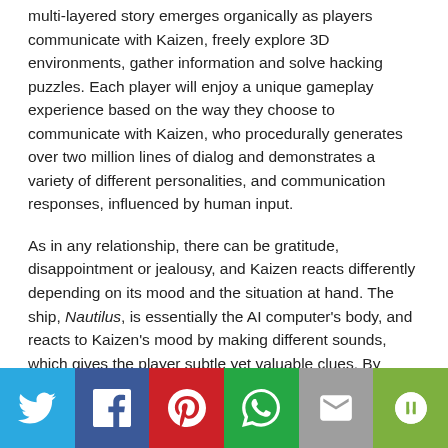multi-layered story emerges organically as players communicate with Kaizen, freely explore 3D environments, gather information and solve hacking puzzles. Each player will enjoy a unique gameplay experience based on the way they choose to communicate with Kaizen, who procedurally generates over two million lines of dialog and demonstrates a variety of different personalities, and communication responses, influenced by human input.
As in any relationship, there can be gratitude, disappointment or jealousy, and Kaizen reacts differently depending on its mood and the situation at hand. The ship, Nautilus, is essentially the AI computer's body, and reacts to Kaizen's mood by making different sounds, which gives the player subtle yet valuable clues. By working through the fears and anxieties of a virtual companion players can ultimately find the way back to Earth—while unraveling the cryptic history of the ship and the 1980s society from which it emerged.
[Figure (infographic): Social media share bar with Twitter, Facebook, Pinterest, WhatsApp, Email, and More buttons]